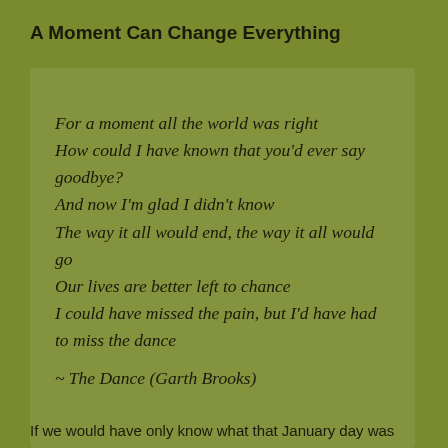A Moment Can Change Everything
For a moment all the world was right
How could I have known that you'd ever say goodbye?
And now I'm glad I didn't know
The way it all would end, the way it all would go
Our lives are better left to chance
I could have missed the pain, but I'd have had to miss the dance
~ The Dance (Garth Brooks)
If we would have only know what that January day was